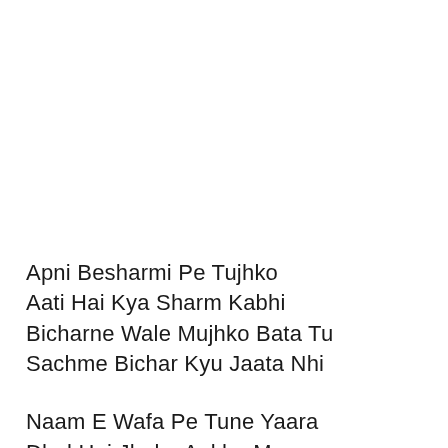Apni Besharmi Pe Tujhko
Aati Hai Kya Sharm Kabhi
Bicharne Wale Mujhko Bata Tu
Sachme Bichar Kyu Jaata Nhi
Naam E Wafa Pe Tune Yaara
Dhul Hai Jhoka Ankho Me
Siche The Jinme Pyar Ke Waade
Aag Lagadi Baagome